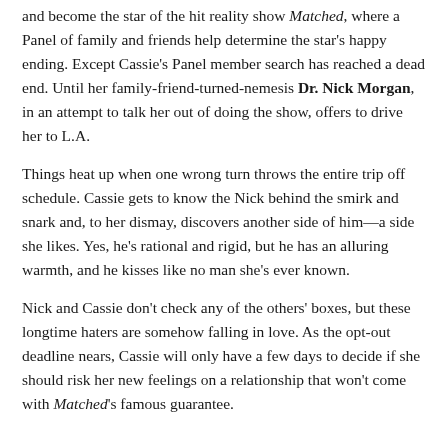and become the star of the hit reality show Matched, where a Panel of family and friends help determine the star's happy ending. Except Cassie's Panel member search has reached a dead end. Until her family-friend-turned-nemesis Dr. Nick Morgan, in an attempt to talk her out of doing the show, offers to drive her to L.A.
Things heat up when one wrong turn throws the entire trip off schedule. Cassie gets to know the Nick behind the smirk and snark and, to her dismay, discovers another side of him—a side she likes. Yes, he's rational and rigid, but he has an alluring warmth, and he kisses like no man she's ever known.
Nick and Cassie don't check any of the others' boxes, but these longtime haters are somehow falling in love. As the opt-out deadline nears, Cassie will only have a few days to decide if she should risk her new feelings on a relationship that won't come with Matched's famous guarantee.